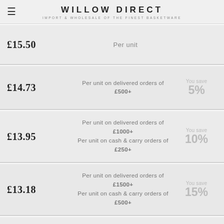WILLOW DIRECT — IMPORT & WHOLESALE OF THE FINEST BASKETWARE
| Price | Description | Saving |
| --- | --- | --- |
| £15.50 | Per unit |  |
| £14.73 | Per unit on delivered orders of £500+ | You save 5% |
| £13.95 | Per unit on delivered orders of £1000+
Per unit on cash & carry orders of £250+ | You save 10% |
| £13.18 | Per unit on delivered orders of £1500+
Per unit on cash & carry orders of £500+ | You save 15% |
| £12.40 | Per unit on delivered orders of £2000+
Per unit on cash & carry orders of £1000+ | You save 20% |